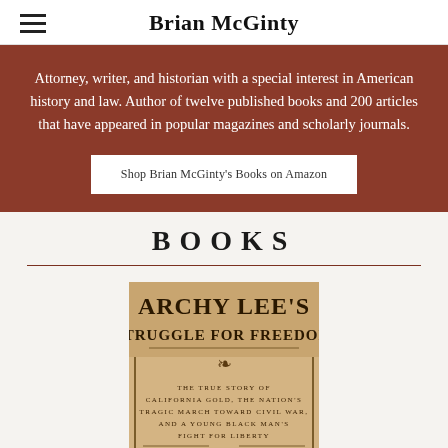Brian McGinty
Attorney, writer, and historian with a special interest in American history and law. Author of twelve published books and 200 articles that have appeared in popular magazines and scholarly journals.
Shop Brian McGinty's Books on Amazon
BOOKS
[Figure (photo): Book cover of 'Archy Lee's Struggle for Freedom' by Brian McGinty. Subtitle: The True Story of California Gold, the Nation's Tragic March Toward Civil War, and a Young Black Man's Fight for Liberty.]